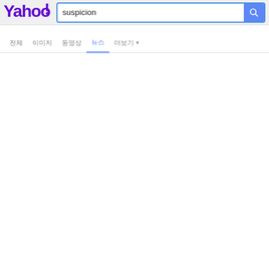[Figure (screenshot): Yahoo search results page header with Yahoo logo, search bar containing the text 'suspicion', and a blue search button with magnifying glass icon]
suspicion
전체  이미지  동영상  뉴스  더보기▼
(empty search results content area)